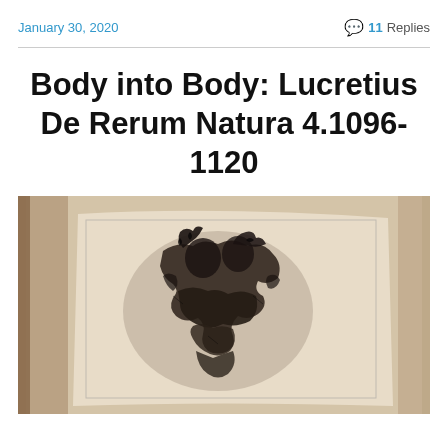January 30, 2020   💬 11 Replies
Body into Body: Lucretius De Rerum Natura 4.1096-1120
[Figure (photo): A photograph of an open book showing a dark illustration or etching of entwined figures, likely related to Lucretius De Rerum Natura.]